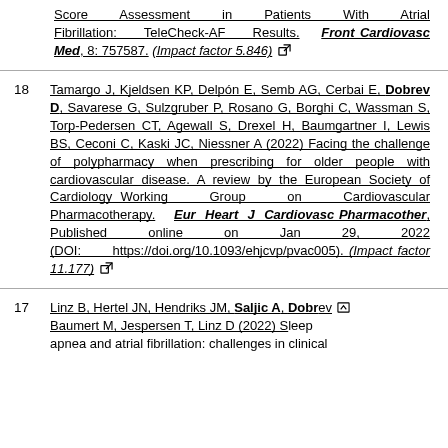Score Assessment in Patients With Atrial Fibrillation: TeleCheck-AF Results. Front Cardiovasc Med, 8: 757587. (Impact factor 5.846)
18 Tamargo J, Kjeldsen KP, Delpón E, Semb AG, Cerbai E, Dobrev D, Savarese G, Sulzgruber P, Rosano G, Borghi C, Wassman S, Torp-Pedersen CT, Agewall S, Drexel H, Baumgartner I, Lewis BS, Ceconi C, Kaski JC, Niessner A (2022) Facing the challenge of polypharmacy when prescribing for older people with cardiovascular disease. A review by the European Society of Cardiology Working Group on Cardiovascular Pharmacotherapy. Eur Heart J Cardiovasc Pharmacother, Published online on Jan 29, 2022 (DOI: https://doi.org/10.1093/ehjcvp/pvac005). (Impact factor 11.177)
17 Linz B, Hertel JN, Hendriks JM, Saljic A, Dobrev ... Baumert M, Jespersen T, Linz D (2022) Sleep apnea and atrial fibrillation: challenges in clinical